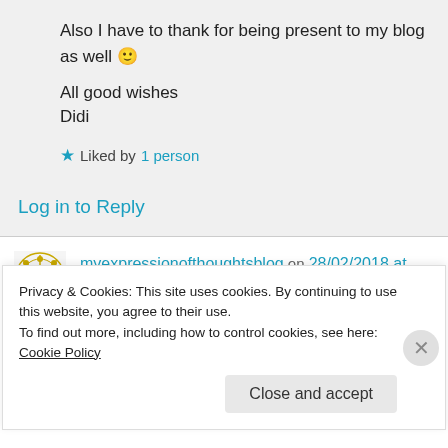Also I have to thank for being present to my blog as well 🙂
All good wishes
Didi
★ Liked by 1 person
Log in to Reply
myexpressionofthoughtsblog on 28/02/2018 at 00:44
Privacy & Cookies: This site uses cookies. By continuing to use this website, you agree to their use.
To find out more, including how to control cookies, see here: Cookie Policy
Close and accept